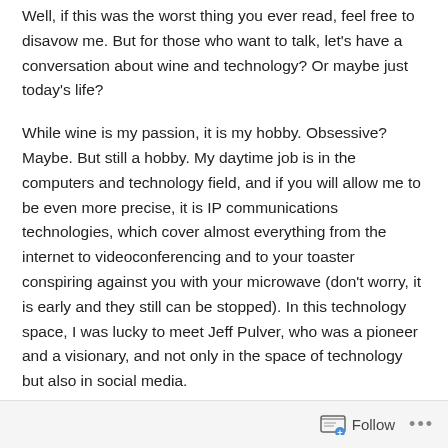Well, if this was the worst thing you ever read, feel free to disavow me. But for those who want to talk, let's have a conversation about wine and technology? Or maybe just today's life?
While wine is my passion, it is my hobby. Obsessive? Maybe. But still a hobby. My daytime job is in the computers and technology field, and if you will allow me to be even more precise, it is IP communications technologies, which cover almost everything from the internet to videoconferencing and to your toaster conspiring against you with your microwave (don't worry, it is early and they still can be stopped). In this technology space, I was lucky to meet Jeff Pulver, who was a pioneer and a visionary, and not only in the space of technology but also in social media.
Follow ···